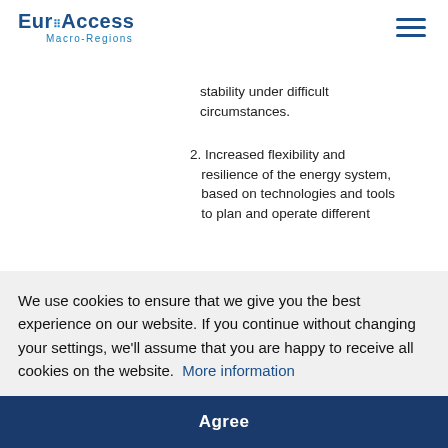EuroAccess Macro-Regions
stability under difficult circumstances.
2. Increased flexibility and resilience of the energy system, based on technologies and tools to plan and operate different
gy
ill
ify
tion
ility
ers to
lergy
services and facilitating their
We use cookies to ensure that we give you the best experience on our website. If you continue without changing your settings, we'll assume that you are happy to receive all cookies on the website.  More information
Agree